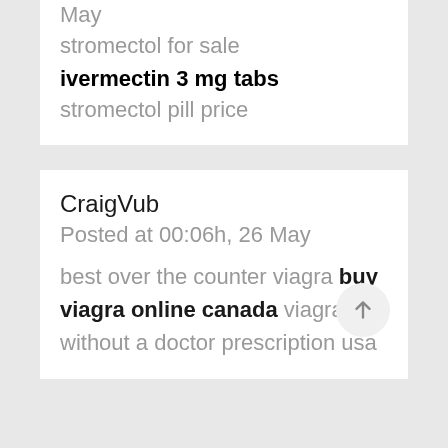May
stromectol for sale
ivermectin 3 mg tabs
stromectol pill price
CraigVub
Posted at 00:06h, 26 May
best over the counter viagra buy viagra online canada viagra without a doctor prescription usa